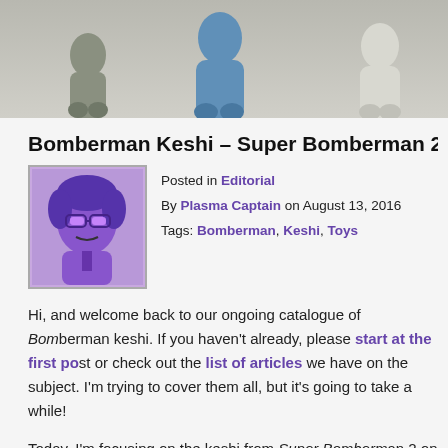[Figure (photo): Photo of Bomberman keshi figures - gray, blue, and white figurines on a light gray surface]
Bomberman Keshi – Super Bomberman 2
Posted in Editorial
By Plasma Captain on August 13, 2016
Tags: Bomberman, Keshi, Toys
Hi, and welcome back to our ongoing catalogue of Bomberman keshi. If you haven't already, please start at the first post or check out the list of articles we have on the subject. I'm trying to cover them all, but it's going to take a while!
Today, I'm focusing on the keshi from Super Bomberman 2 on the Super Famicom (or Super Nintendo). This is the first of two sets representing the 5 Fiendish Bombers (known in localizations as 5 Bad Bombers or 5 Dastardly Bombers). You may be wondering how one can know which game each set is from. There are some telling signs in one of the figures that I will detail later, so sit tight~!